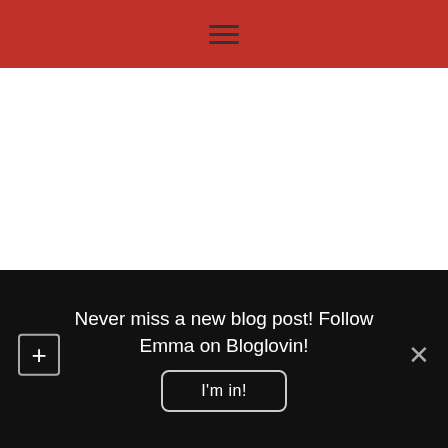Navigation menu bar (hamburger icon)
[Figure (logo): My GBGV Life blog logo featuring a cartoon dog wearing glasses and a red scarf against a French flag (red and blue) background, with text 'My GBGV Life' and subtitle 'Going through life as a French Scent Hound']
Never miss a new blog post! Follow Emma on Bloglovin!
I'm in!